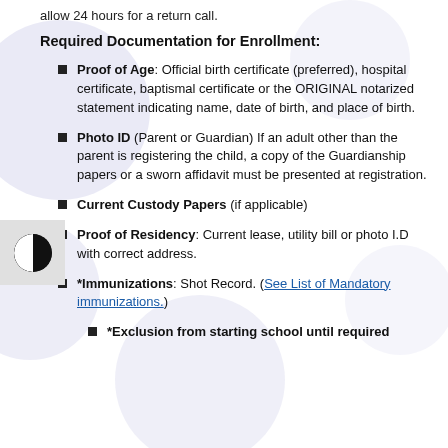allow 24 hours for a return call.
Required Documentation for Enrollment:
Proof of Age: Official birth certificate (preferred), hospital certificate, baptismal certificate or the ORIGINAL notarized statement indicating name, date of birth, and place of birth.
Photo ID (Parent or Guardian) If an adult other than the parent is registering the child, a copy of the Guardianship papers or a sworn affidavit must be presented at registration.
Current Custody Papers (if applicable)
Proof of Residency: Current lease, utility bill or photo I.D with correct address.
*Immunizations: Shot Record. (See List of Mandatory immunizations.)
*Exclusion from starting school until required